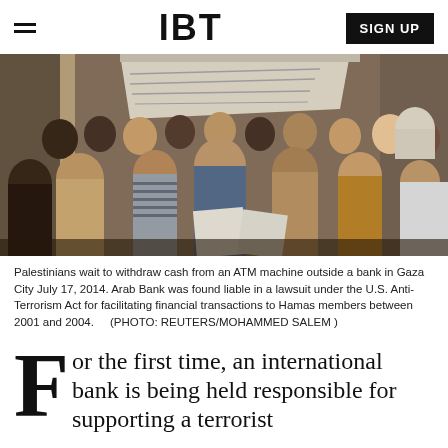IBT  SIGN UP
[Figure (photo): Crowd of Palestinians waiting to withdraw cash from an ATM machine outside a bank in Gaza City, July 17, 2014.]
Palestinians wait to withdraw cash from an ATM machine outside a bank in Gaza City July 17, 2014. Arab Bank was found liable in a lawsuit under the U.S. Anti-Terrorism Act for facilitating financial transactions to Hamas members between 2001 and 2004.     (PHOTO: REUTERS/MOHAMMED SALEM )
For the first time, an international bank is being held responsible for supporting a terrorist